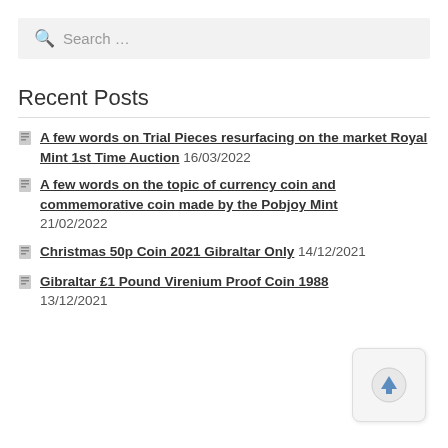Search ...
Recent Posts
A few words on Trial Pieces resurfacing on the market Royal Mint 1st Time Auction 16/03/2022
A few words on the topic of currency coin and commemorative coin made by the Pobjoy Mint 21/02/2022
Christmas 50p Coin 2021 Gibraltar Only 14/12/2021
Gibraltar £1 Pound Virenium Proof Coin 1988 13/12/2021